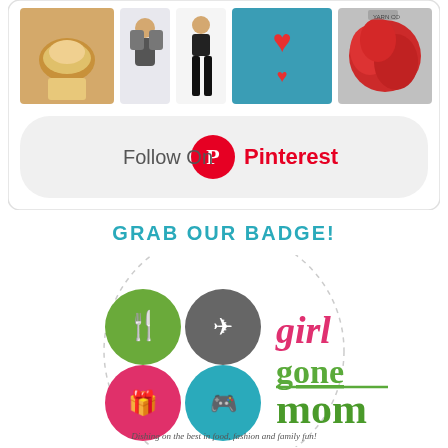[Figure (screenshot): Pinterest follow widget showing a grid of 4 images (food, fashion, heart graphic, yarn/crafts) with a 'Follow On Pinterest' button below, inside a rounded rectangle card]
GRAB OUR BADGE!
[Figure (logo): Girl Gone Mom logo inside a dashed circle border. Logo features four colored circles with icons (fork/knife in green, airplane in gray, gift in pink, game controller in teal) alongside stylized text 'girl gone mom' in pink and green, with tagline 'Dishing on the best in food, fashion and family fun!']